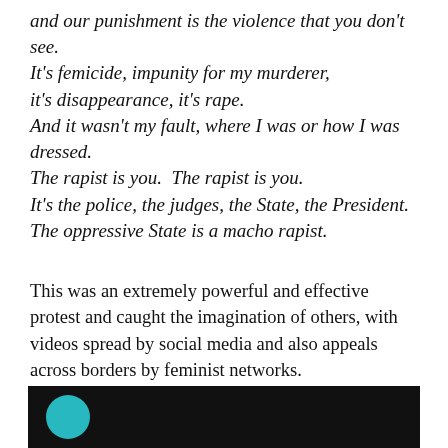and our punishment is the violence that you don't see.
It's femicide, impunity for my murderer,
it's disappearance, it's rape.
And it wasn't my fault, where I was or how I was dressed.
The rapist is you.  The rapist is you.
It's the police, the judges, the State, the President.
The oppressive State is a macho rapist.
This was an extremely powerful and effective protest and caught the imagination of others, with videos spread by social media and also appeals across borders by feminist networks.
[Figure (screenshot): Dark background strip with a teal circle (partial logo) on the left, with grey text to the right, partially visible at bottom of page.]